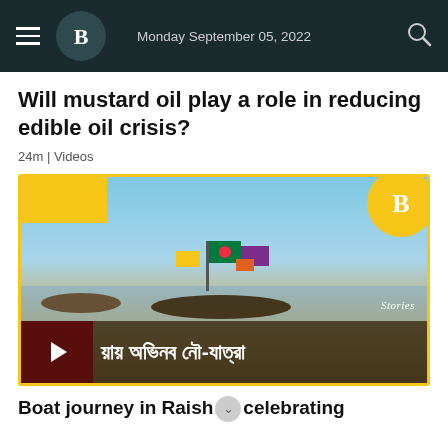Monday September 05, 2022
Will mustard oil play a role in reducing edible oil crisis?
24m | Videos
[Figure (screenshot): Video thumbnail showing boats on a river with colorful flags including the Bangladesh flag. Bengali text overlay reads partial Bangla script. Yellow corner decorations and a play button are visible. 'Stories' text appears in bottom right of image.]
Boat journey in Raish... celebrating